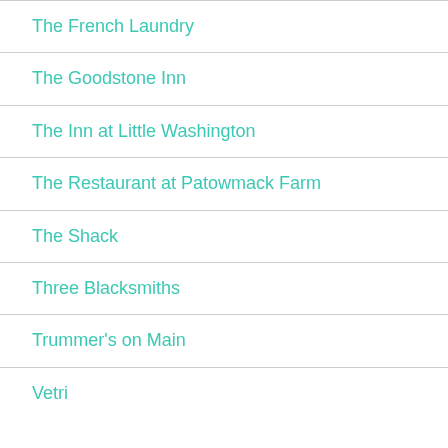The French Laundry
The Goodstone Inn
The Inn at Little Washington
The Restaurant at Patowmack Farm
The Shack
Three Blacksmiths
Trummer's on Main
Vetri